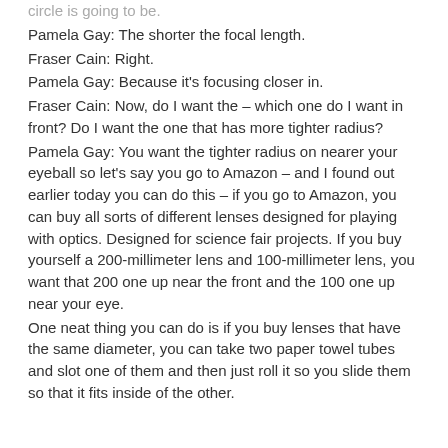circle is going to be.
Pamela Gay: The shorter the focal length.
Fraser Cain: Right.
Pamela Gay: Because it's focusing closer in.
Fraser Cain: Now, do I want the – which one do I want in front? Do I want the one that has more tighter radius?
Pamela Gay: You want the tighter radius on nearer your eyeball so let's say you go to Amazon – and I found out earlier today you can do this – if you go to Amazon, you can buy all sorts of different lenses designed for playing with optics. Designed for science fair projects. If you buy yourself a 200-millimeter lens and 100-millimeter lens, you want that 200 one up near the front and the 100 one up near your eye.
One neat thing you can do is if you buy lenses that have the same diameter, you can take two paper towel tubes and slot one of them and then just roll it so you slide them so that it fits inside of the other.